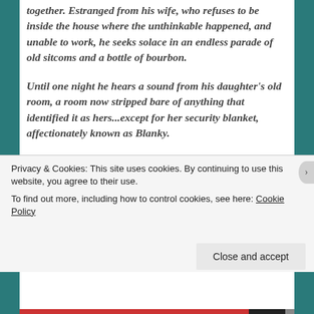together. Estranged from his wife, who refuses to be inside the house where the unthinkable happened, and unable to work, he seeks solace in an endless parade of old sitcoms and a bottle of bourbon.
Until one night he hears a sound from his daughter's old room, a room now stripped bare of anything that identified it as hers...except for her security blanket, affectionately known as Blanky.
Blanky, old and frayed, with its antiquated
Privacy & Cookies: This site uses cookies. By continuing to use this website, you agree to their use.
To find out more, including how to control cookies, see here: Cookie Policy
Close and accept